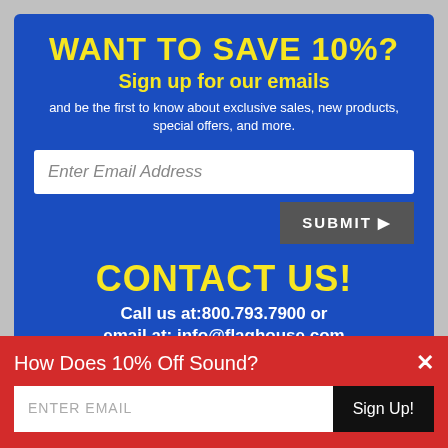WANT TO SAVE 10%?
Sign up for our emails
and be the first to know about exclusive sales, new products, special offers, and more.
Enter Email Address
SUBMIT ▶
CONTACT US!
Call us at:800.793.7900 or
email at: info@flaghouse.com
TOP BRANDS  ALL PRODUCTS  THE COLLECTION  LOCATIONS
BE PART OF THE CONVERSATION. STAY CONNECTED.
How Does 10% Off Sound?
ENTER EMAIL
Sign Up!